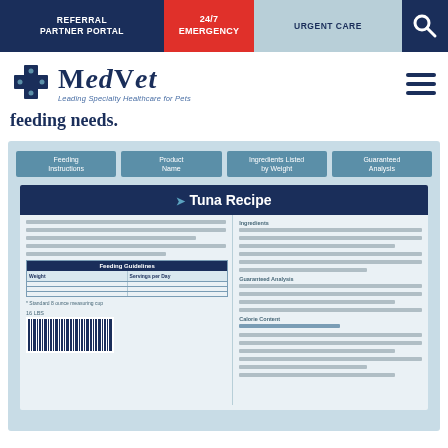REFERRAL PARTNER PORTAL | 24/7 EMERGENCY | URGENT CARE
[Figure (logo): MedVet logo with cross symbol and tagline 'Leading Specialty Healthcare for Pets']
feeding needs.
[Figure (infographic): Pet food label infographic showing: Feeding Instructions, Product Name, Ingredients Listed by Weight, Guaranteed Analysis labels pointing to a 'Tuna Recipe' can label. The can label shows Feeding Guidelines table with Weight and Servings per Day columns, Ingredients section, Guaranteed Analysis section, Calorie Content section, footnote '* Standard 8 ounce measuring cup', '16 LBS' weight label, and barcode.]